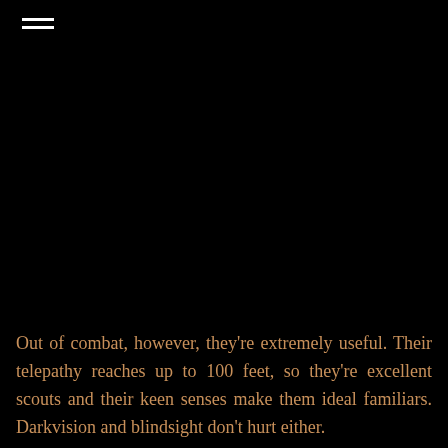Out of combat, however, they're extremely useful. Their telepathy reaches up to 100 feet, so they're excellent scouts and their keen senses make them ideal familiars. Darkvision and blindsight don't hurt either.
 As a legit Familiar, Pseudodragons can communicate